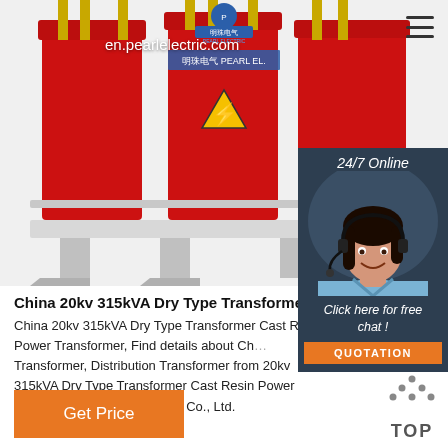[Figure (photo): Red dry-type cast resin power transformer with three cylindrical coils, gold conductors, mounted on a white base/frame with warning label]
en.pearlelectric.com
[Figure (photo): Customer service agent woman with headset, smiling, in front of 24/7 Online support banner]
China 20kv 315kVA Dry Type Transformer
China 20kv 315kVA Dry Type Transformer Cast Resin Power Transformer, Find details about China Transformer, Distribution Transformer from 20kv 315kVA Dry Type Transformer Cast Resin Power Transformer - Farady Electric Co., Ltd.
Click here for free chat !
QUOTATION
Get Price
TOP